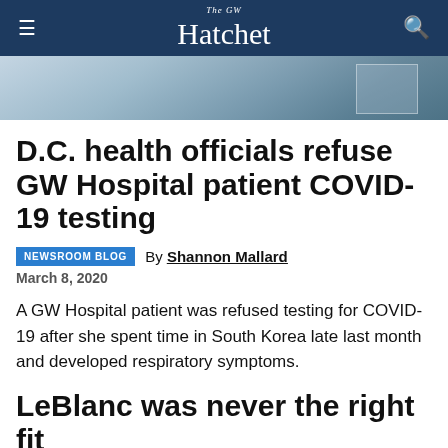The GW Hatchet
[Figure (photo): Photo of a building exterior with windows, showing glass and architectural facade]
D.C. health officials refuse GW Hospital patient COVID-19 testing
NEWSROOM BLOG  By Shannon Mallard
March 8, 2020
A GW Hospital patient was refused testing for COVID-19 after she spent time in South Korea late last month and developed respiratory symptoms.
LeBlanc was never the right fit